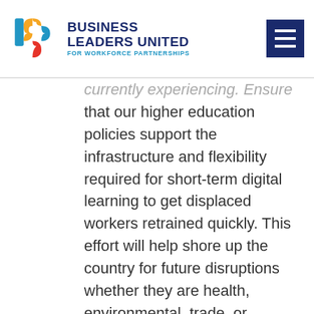Business Leaders United for Workforce Partnerships
currently experiencing. Ensure that our higher education policies support the infrastructure and flexibility required for short-term digital learning to get displaced workers retrained quickly. This effort will help shore up the country for future disruptions whether they are health, environmental, trade, or technology related. This will also require a national effort to address the disproportionately low digital